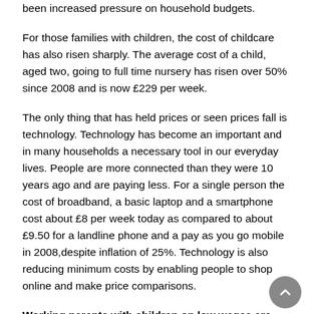been increased pressure on household budgets.
For those families with children, the cost of childcare has also risen sharply. The average cost of a child, aged two, going to full time nursery has risen over 50% since 2008 and is now £229 per week.
The only thing that has held prices or seen prices fall is technology. Technology has become an important and in many households a necessary tool in our everyday lives. People are more connected than they were 10 years ago and are paying less. For a single person the cost of broadband, a basic laptop and a smartphone cost about £8 per week today as compared to about £9.50 for a landline phone and a pay as you go mobile in 2008,despite inflation of 25%. Technology is also reducing minimum costs by enabling people to shop online and make price comparisons.
Working parents with children on low wages are further